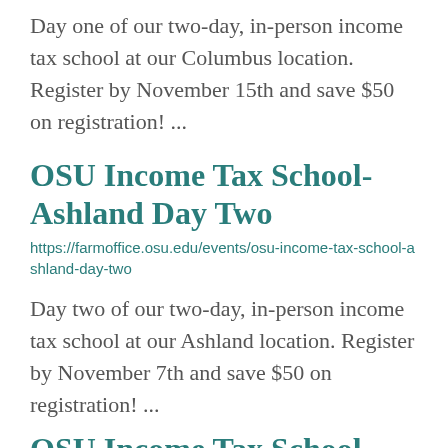Day one of our two-day, in-person income tax school at our Columbus location. Register by November 15th and save $50 on registration! ...
OSU Income Tax School- Ashland Day Two
https://farmoffice.osu.edu/events/osu-income-tax-school-ashland-day-two
Day two of our two-day, in-person income tax school at our Ashland location. Register by November 7th and save $50 on registration! ...
OSU Income Tax School- Ashland